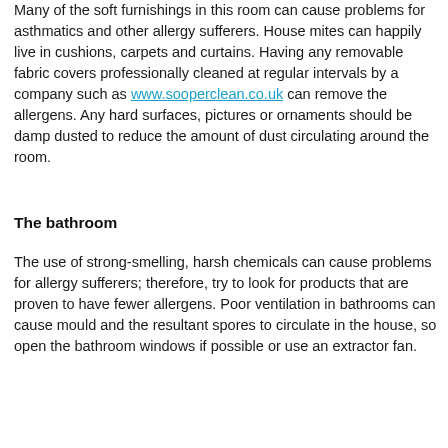Many of the soft furnishings in this room can cause problems for asthmatics and other allergy sufferers. House mites can happily live in cushions, carpets and curtains. Having any removable fabric covers professionally cleaned at regular intervals by a company such as www.sooperclean.co.uk can remove the allergens. Any hard surfaces, pictures or ornaments should be damp dusted to reduce the amount of dust circulating around the room.
The bathroom
The use of strong-smelling, harsh chemicals can cause problems for allergy sufferers; therefore, try to look for products that are proven to have fewer allergens. Poor ventilation in bathrooms can cause mould and the resultant spores to circulate in the house, so open the bathroom windows if possible or use an extractor fan.